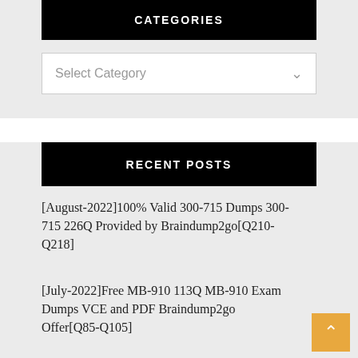CATEGORIES
Select Category
RECENT POSTS
[August-2022]100% Valid 300-715 Dumps 300-715 226Q Provided by Braindump2go[Q210-Q218]
[July-2022]Free MB-910 113Q MB-910 Exam Dumps VCE and PDF Braindump2go Offer[Q85-Q105]